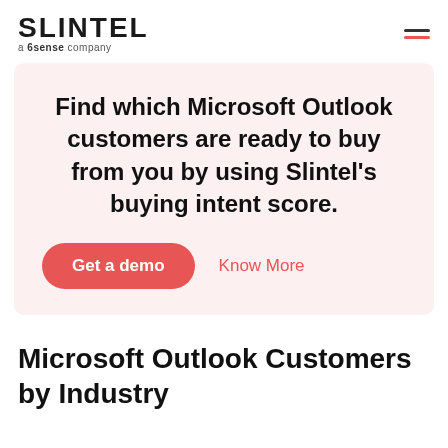SLINTEL a 6sense company
Find which Microsoft Outlook customers are ready to buy from you by using Slintel's buying intent score.
Get a demo
Know More
Microsoft Outlook Customers by Industry